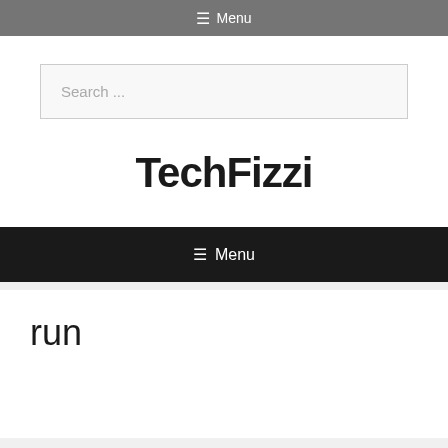☰ Menu
Search ...
TechFizzi
☰ Menu
run